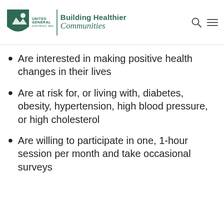United General District 304 — Building Healthier Communities
Are interested in making positive health changes in their lives
Are at risk for, or living with, diabetes, obesity, hypertension, high blood pressure, or high cholesterol
Are willing to participate in one, 1-hour session per month and take occasional surveys